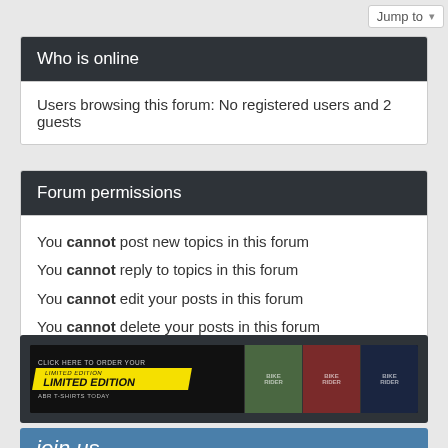Jump to
Who is online
Users browsing this forum: No registered users and 2 guests
Forum permissions
You cannot post new topics in this forum
You cannot reply to topics in this forum
You cannot edit your posts in this forum
You cannot delete your posts in this forum
You cannot post attachments in this forum
[Figure (illustration): Banner advertisement: CLICK HERE TO ORDER YOUR LIMITED EDITION ABR T-SHIRTS TODAY, showing three t-shirts in green, red, and navy colors with bike rider logos]
join us